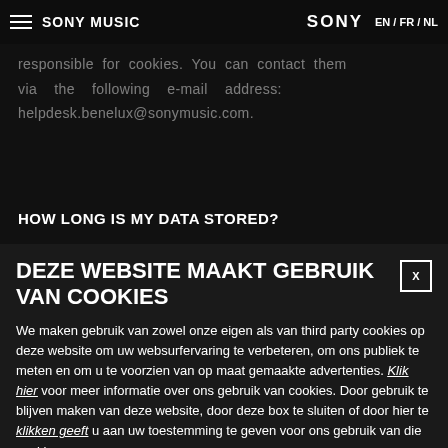SONY | SONY MUSIC | EN / FR / NL
responsible for cookies. You can contact them via the following e-mail address: helpdesk.benelux@sonymusic.com.
HOW LONG IS MY DATA STORED?
DEZE WEBSITE MAAKT GEBRUIK VAN COOKIES
We maken gebruik van zowel onze eigen als van third party cookies op deze website om uw websurfervaring te verbeteren, om ons publiek te meten en om u te voorzien van op maat gemaakte advertenties. Klik hier voor meer informatie over ons gebruik van cookies. Door gebruik te blijven maken van deze website, door deze box te sluiten of door hier te klikken geeft u aan uw toestemming te geven voor ons gebruik van die cookies.
ACCEPTEER